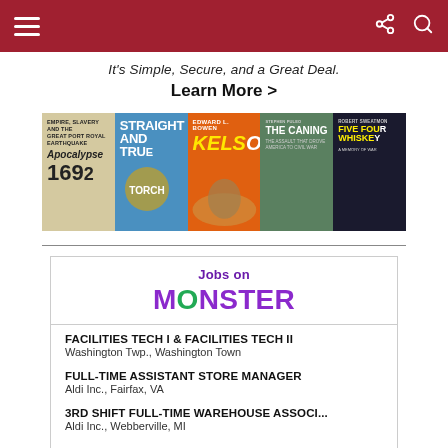It's Simple, Secure, and a Great Deal.
Learn More >
[Figure (illustration): Strip of five book covers: Apocalypse 1692, Straight and True, Kelso (horse racing book), The Caning: The Assault That Drove America to Civil War, Five Four Whiskey: A Memory of War by Robert Sweatmon]
Jobs on MONSTER
FACILITIES TECH I & FACILITIES TECH II
Washington Twp., Washington Town
FULL-TIME ASSISTANT STORE MANAGER
Aldi Inc., Fairfax, VA
3RD SHIFT FULL-TIME WAREHOUSE ASSOCI...
Aldi Inc., Webberville, MI